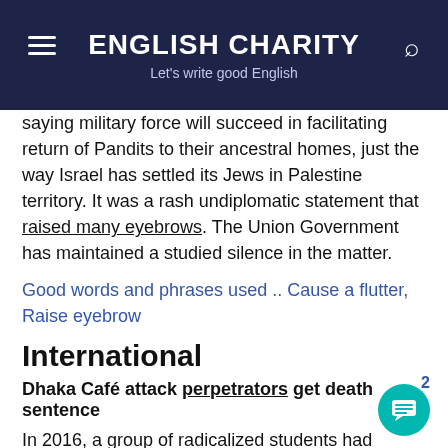ENGLISH CHARITY — Let's write good English
saying military force will succeed in facilitating return of Pandits to their ancestral homes, just the way Israel has settled its Jews in Palestine territory. It was a rash undiplomatic statement that raised many eyebrows. The Union Government has maintained a studied silence in the matter.
Good words and phrases used .. Cause a flutter, Raise eyebrow
International
Dhaka Café attack perpetrators get death sentence
In 2016, a group of radicalized students had mounted a bomb attack on an upscale Café popular with foreigners. The attack left 20 dead and...